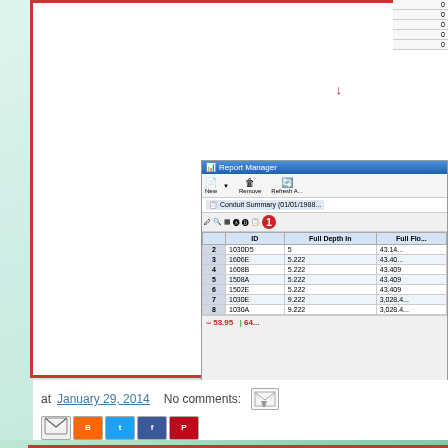[Figure (screenshot): Report Manager window showing a conduit summary table with columns for ID, Full Depth In, Full Flow. Rows numbered 2-8 with conduit IDs like 1030D5, 1606E, 1608B, 1508A, 1502E, 1030E, 1030A. Values shown for Full Depth In (~5-9) and Full Flow (~43.4 or ~3028). Red annotation circle with number 1 in top right of window. Red arrows and annotation showing '53.95' and green bar indicator at bottom.]
Qfull i
at January 29, 2014   No comments:
Labels: H2OMAP SWMM, How to Use Qfull in a Map Display in InfoSWM